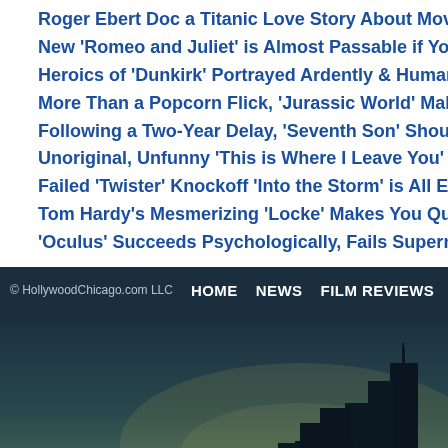Roger Ebert Doc a Titanic Love Story About Movies, Chaz & 'Life I…
New 'Romeo and Juliet' is Almost Passable if You Haven't Seen It,…
Heroics of 'Dunkirk' Portrayed Ardently & Humanely
More Than a Popcorn Flick, 'Jurassic World' Makes a Climactic Co…
Following a Two-Year Delay, 'Seventh Son' Should Have Been She…
Unoriginal, Unfunny 'This is Where I Leave You' a Poor Man's 'Aug…
Failed 'Twister' Knockoff 'Into the Storm' is All Eyes, No Heart
Tom Hardy's Mesmerizing 'Locke' Makes You Question Who You A…
'Oculus' Succeeds Psychologically, Fails Supernaturally
© HollywoodChicago.com LLC   HOME   NEWS   FILM REVIEWS   TV   BLU-RAY
[Figure (illustration): Dark city skyline silhouette against a dim twilight sky with buildings of varying heights, deep navy and teal tones.]